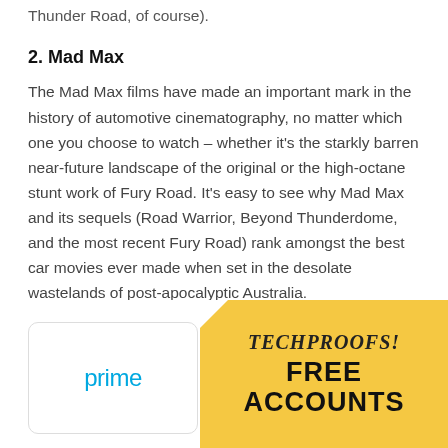It's one of the best films ever made about bootlegging (after Thunder Road, of course).
2. Mad Max
The Mad Max films have made an important mark in the history of automotive cinematography, no matter which one you choose to watch – whether it's the starkly barren near-future landscape of the original or the high-octane stunt work of Fury Road. It's easy to see why Mad Max and its sequels (Road Warrior, Beyond Thunderdome, and the most recent Fury Road) rank amongst the best car movies ever made when set in the desolate wastelands of post-apocalyptic Australia.
[Figure (other): Advertisement banner with TECHPROOFS! FREE ACCOUNTS text on yellow background, and Amazon Prime logo box]
[Figure (logo): Amazon Prime logo in blue]